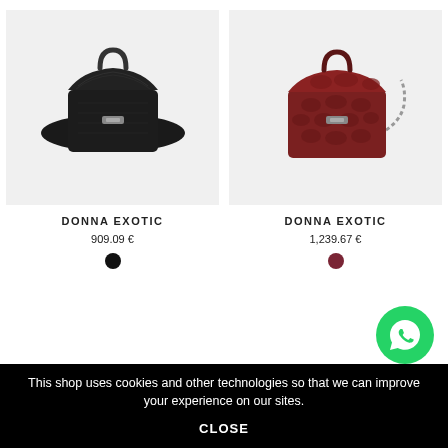[Figure (photo): Black snakeskin-texture Donna Exotic handbag with top handle and waist belt strap, displayed on light grey background]
DONNA EXOTIC
909.09 €
[Figure (other): Black circular color swatch]
[Figure (photo): Red/burgundy snakeskin-texture Donna Exotic crossbody handbag with top handle and chain strap, displayed on light grey background]
DONNA EXOTIC
1,239.67 €
[Figure (other): Dark red/wine circular color swatch]
[Figure (other): WhatsApp contact button icon (green circle with phone handset logo)]
This shop uses cookies and other technologies so that we can improve your experience on our sites.
CLOSE